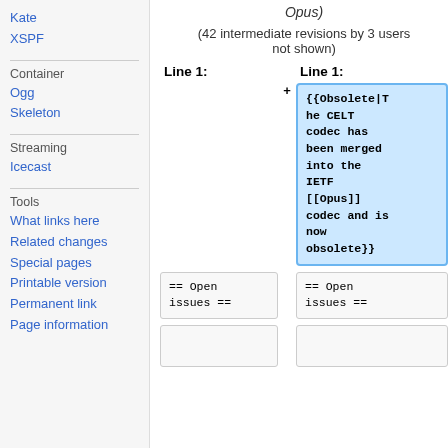Kate
XSPF
Container
Ogg
Skeleton
Streaming
Icecast
Tools
What links here
Related changes
Special pages
Printable version
Permanent link
Page information
Opus)
(42 intermediate revisions by 3 users not shown)
| Line 1: | Line 1: |
| --- | --- |
|  | {{Obsolete|The CELT codec has been merged into the IETF [[Opus]] codec and is now obsolete}} |
| == Open issues == | == Open issues == |
|  |  |